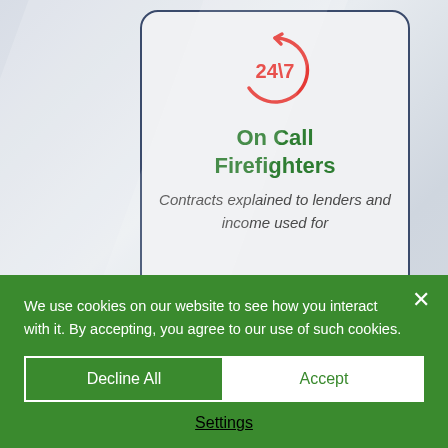[Figure (infographic): A card UI element showing a 24/7 circular arrow icon in red, with the title 'On Call Firefighters' in green bold text, and italic subtitle 'Contracts explained to lenders and income used for'. A second partially visible card is below with a green circle icon.]
We use cookies on our website to see how you interact with it. By accepting, you agree to our use of such cookies.
Decline All
Accept
Settings